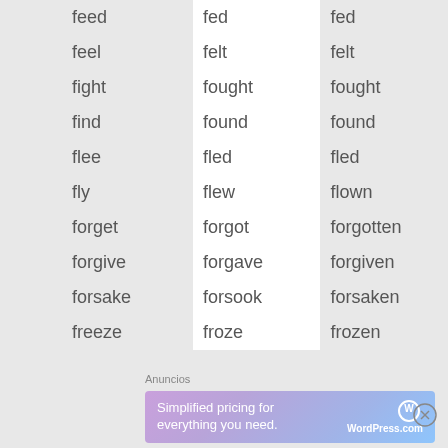| Base form | Past simple | Past participle |
| --- | --- | --- |
| feed | fed | fed |
| feel | felt | felt |
| fight | fought | fought |
| find | found | found |
| flee | fled | fled |
| fly | flew | flown |
| forget | forgot | forgotten |
| forgive | forgave | forgiven |
| forsake | forsook | forsaken |
| freeze | froze | frozen |
Anuncios
[Figure (other): WordPress.com advertisement banner: Simplified pricing for everything you need.]